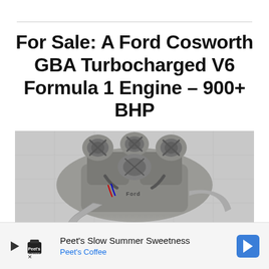For Sale: A Ford Cosworth GBA Turbocharged V6 Formula 1 Engine – 900+ BHP
[Figure (photo): Overhead view of a Ford Cosworth GBA turbocharged V6 Formula 1 engine placed on a tiled grey floor, showing intake manifolds, turbochargers, piping, and the Ford-branded engine block.]
Peet's Slow Summer Sweetness Peet's Coffee